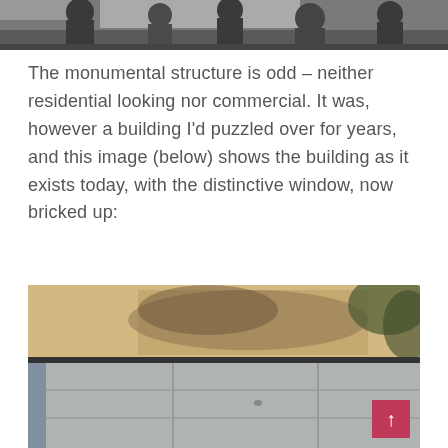[Figure (photo): Black and white historical photograph showing people, partially cropped at top of page]
The monumental structure is odd – neither residential looking nor commercial. It was, however a building I'd puzzled over for years, and this image (below) shows the building as it exists today, with the distinctive window, now bricked up:
[Figure (photo): Color photograph showing the exterior of a concrete building with a bricked-up window area, trees visible on the right side, and a scroll-up button in the bottom right corner]